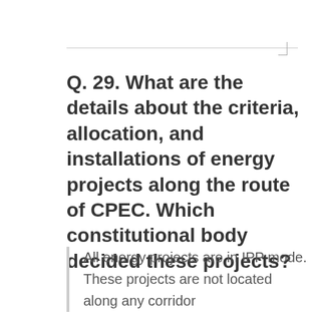Q. 29. What are the details about the criteria, allocation, and installations of energy projects along the route of CPEC. Which constitutional body decided these projects?
All energy projects are in IPP mode. These projects are not located along any corridor